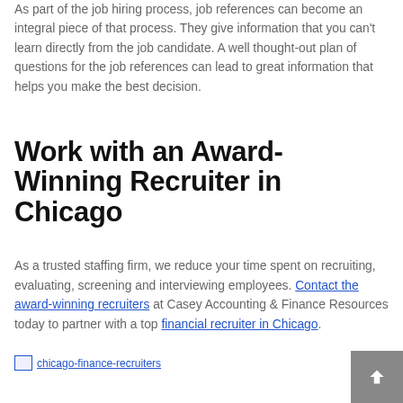As part of the job hiring process, job references can become an integral piece of that process. They give information that you can't learn directly from the job candidate. A well thought-out plan of questions for the job references can lead to great information that helps you make the best decision.
Work with an Award-Winning Recruiter in Chicago
As a trusted staffing firm, we reduce your time spent on recruiting, evaluating, screening and interviewing employees. Contact the award-winning recruiters at Casey Accounting & Finance Resources today to partner with a top financial recruiter in Chicago.
[Figure (other): Image placeholder labeled chicago-finance-recruiters]